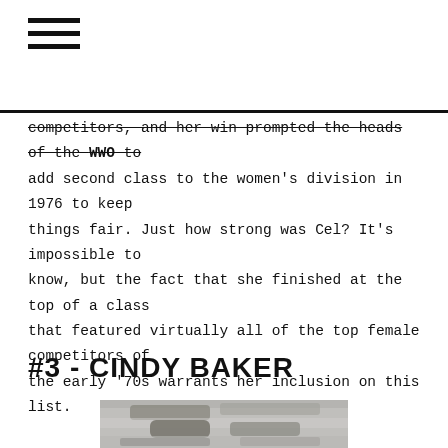≡
competitors, and her win prompted the heads of the WWO to add second class to the women's division in 1976 to keep things fair. Just how strong was Cel? It's impossible to know, but the fact that she finished at the top of a class that featured virtually all of the top female competitors of the early '70s warrants her inclusion on this list.
#3 - CINDY BAKER
[Figure (photo): Black and white photograph of Cindy Baker, partially visible at bottom of page]